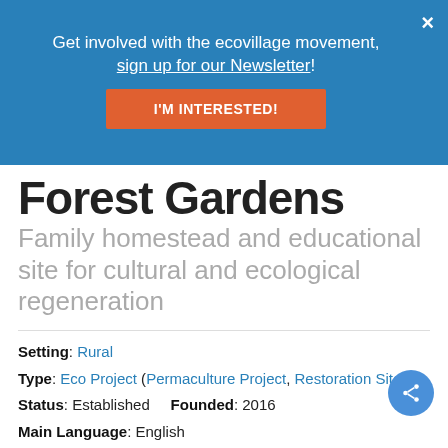Get involved with the ecovillage movement, sign up for our Newsletter!
I'M INTERESTED!
Forest Gardens
Family homestead and educational site for cultural and ecological regeneration
Setting: Rural
Type: Eco Project (Permaculture Project, Restoration Site
Status: Established    Founded: 2016
Main Language: English
Yearning for a life aligned with the earth, we stepped out of mainstream society and into the forest to re-learn